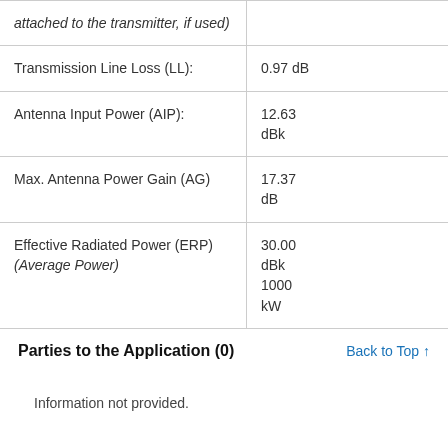|  |  |
| --- | --- |
| attached to the transmitter, if used) |  |
| Transmission Line Loss (LL): | 0.97 dB |
| Antenna Input Power (AIP): | 12.63 dBk |
| Max. Antenna Power Gain (AG) | 17.37 dB |
| Effective Radiated Power (ERP) (Average Power) | 30.00 dBk 1000 kW |
Parties to the Application (0)
Back to Top ↑
Information not provided.